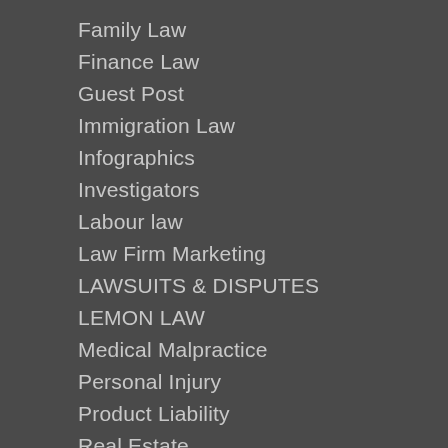Family Law
Finance Law
Guest Post
Immigration Law
Infographics
Investigators
Labour law
Law Firm Marketing
LAWSUITS & DISPUTES
LEMON LAW
Medical Malpractice
Personal Injury
Product Liability
Real Estate
Road Accidents
Separation Agreement
Sexual Abuse